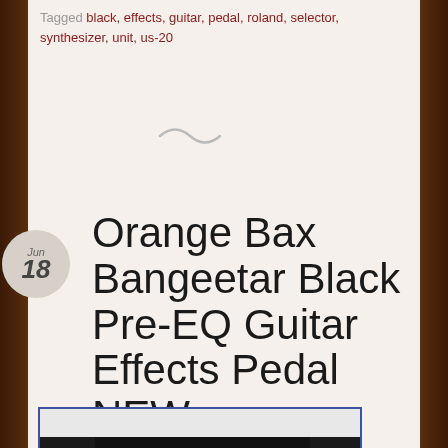Tagged black, effects, guitar, pedal, roland, selector, synthesizer, unit, us-20
Orange Bax Bangeetar Black Pre-EQ Guitar Effects Pedal NEW
[Figure (photo): Photo of the Orange Bax Bangeetar guitar effects pedal showing orange knobs on a black faceplate with labels MID, TREBLE, VOL, OUT, CAB SIM, TOP, BOTTOM, GAIN, 9V DC IN, IN]